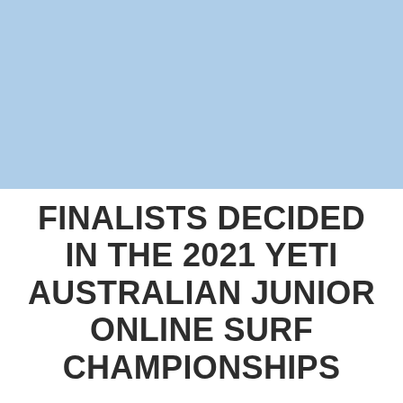[Figure (photo): Light blue rectangle occupying the top half of the page, representing an image placeholder or background.]
FINALISTS DECIDED IN THE 2021 YETI AUSTRALIAN JUNIOR ONLINE SURF CHAMPIONSHIPS